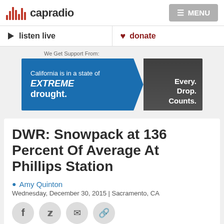capradio | MENU
listen live | donate
[Figure (other): Advertisement banner: California is in a state of EXTREME drought. Every. Drop. Counts.]
DWR: Snowpack at 136 Percent Of Average At Phillips Station
Amy Quinton
Wednesday, December 30, 2015 | Sacramento, CA
Social share buttons: Facebook, Twitter, Email, Link